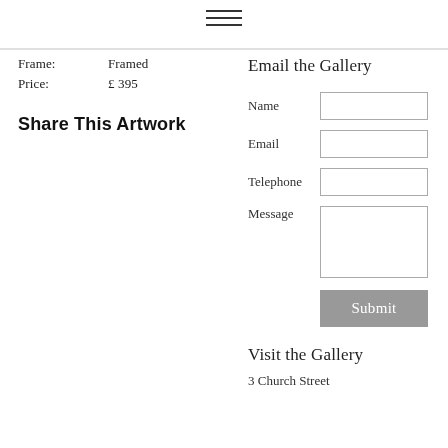[Figure (other): Hamburger menu icon (three horizontal lines)]
Frame: Framed
Price: £ 395
Share This Artwork
Email the Gallery
Name
Email
Telephone
Message
Submit
Visit the Gallery
3 Church Street